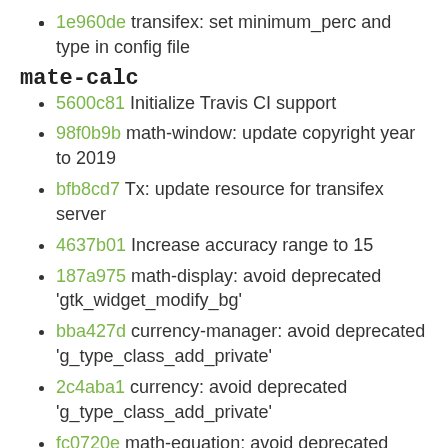1e960de transifex: set minimum_perc and type in config file
mate-calc
5600c81 Initialize Travis CI support
98f0b9b math-window: update copyright year to 2019
bfb8cd7 Tx: update resource for transifex server
4637b01 Increase accuracy range to 15
187a975 math-display: avoid deprecated 'gtk_widget_modify_bg'
bba427d currency-manager: avoid deprecated 'g_type_class_add_private'
2c4aba1 currency: avoid deprecated 'g_type_class_add_private'
fc0720e math-equation: avoid deprecated 'g_type_class_add_private'